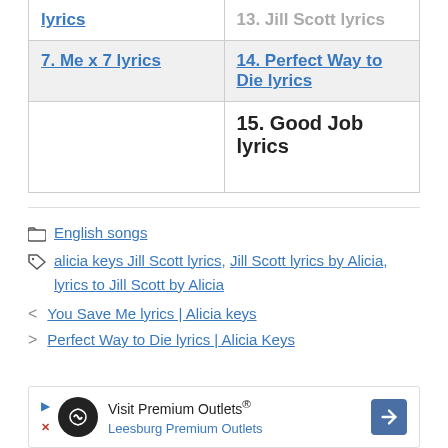| Col1 | Col2 |
| --- | --- |
| lyrics | 13. Jill Scott lyrics |
| 7. Me x 7 lyrics | 14. Perfect Way to Die lyrics |
|  | 15. Good Job lyrics |
English songs
alicia keys Jill Scott lyrics, Jill Scott lyrics by Alicia, lyrics to Jill Scott by Alicia
< You Save Me lyrics | Alicia keys
> Perfect Way to Die lyrics | Alicia Keys
[Figure (other): Advertisement banner for Premium Outlets — Visit Premium Outlets® Leesburg Premium Outlets]